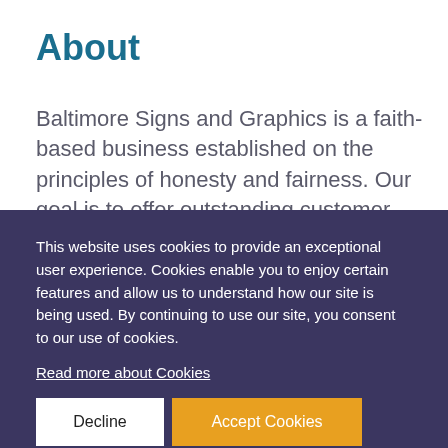About
Baltimore Signs and Graphics is a faith-based business established on the principles of honesty and fairness. Our goal is to offer outstanding customer service
This website uses cookies to provide an exceptional user experience. Cookies enable you to enjoy certain features and allow us to understand how our site is being used. By continuing to use our site, you consent to our use of cookies.
Read more about Cookies
Decline
Accept Cookies
Your “Silent Salespeople” In Baltimore